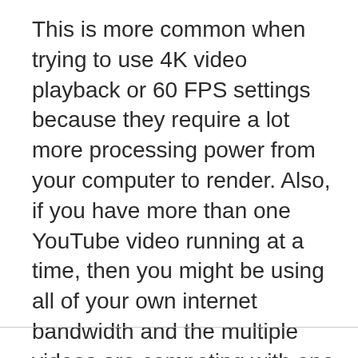This is more common when trying to use 4K video playback or 60 FPS settings because they require a lot more processing power from your computer to render. Also, if you have more than one YouTube video running at a time, then you might be using all of your own internet bandwidth and the multiple videos are competing with one another to play.